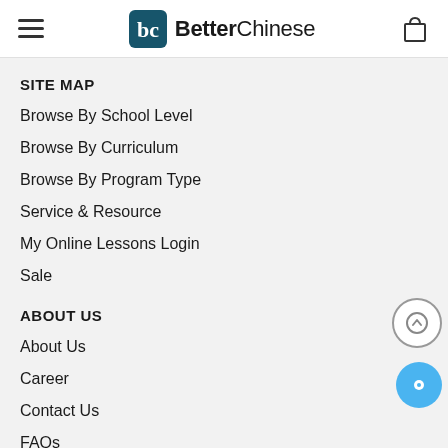BetterChinese
SITE MAP
Browse By School Level
Browse By Curriculum
Browse By Program Type
Service & Resource
My Online Lessons Login
Sale
ABOUT US
About Us
Career
Contact Us
FAQs
Blog